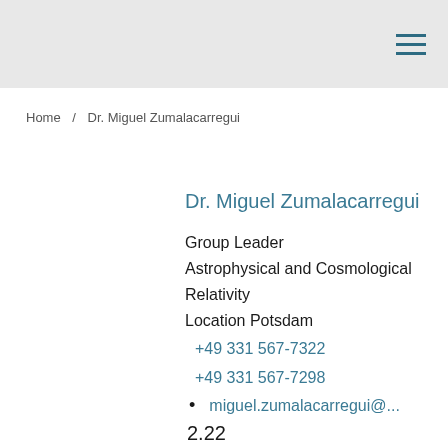Home / Dr. Miguel Zumalacarregui
Dr. Miguel Zumalacarregui
Group Leader
Astrophysical and Cosmological Relativity
Location Potsdam
+49 331 567-7322
+49 331 567-7298
miguel.zumalacarregui@...
2.22